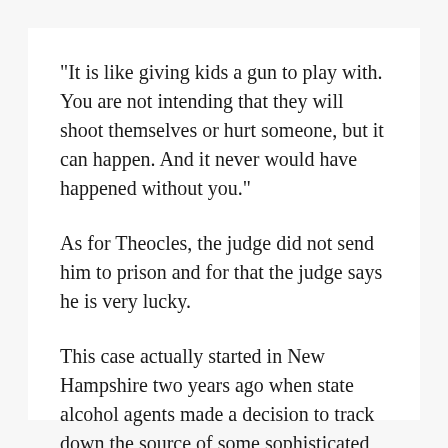"It is like giving kids a gun to play with. You are not intending that they will shoot themselves or hurt someone, but it can happen. And it never would have happened without you."
As for Theocles, the judge did not send him to prison and for that the judge says he is very lucky.
This case actually started in New Hampshire two years ago when state alcohol agents made a decision to track down the source of some sophisticated phony IDs.